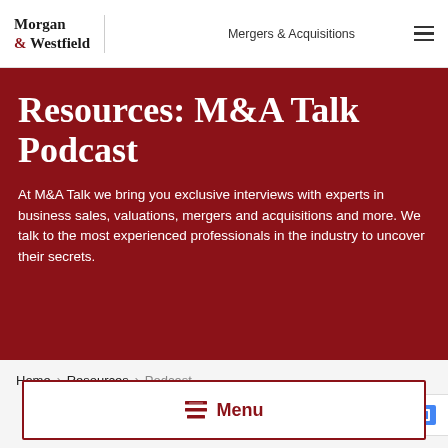Morgan & Westfield | Mergers & Acquisitions
Resources: M&A Talk Podcast
At M&A Talk we bring you exclusive interviews with experts in business sales, valuations, mergers and acquisitions and more. We talk to the most experienced professionals in the industry to uncover their secrets.
Home > Resources > Podcast
Menu